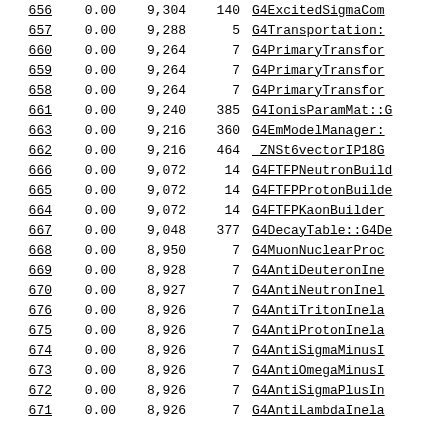| ID | Val1 | Val2 | Val3 | Name |
| --- | --- | --- | --- | --- |
| 656 | 0.00 | 9,304 | 140 | G4ExcitedSigmaCom... |
| 657 | 0.00 | 9,288 | 5 | G4Transportation:... |
| 660 | 0.00 | 9,264 | 7 | G4PrimaryTransfor... |
| 659 | 0.00 | 9,264 | 7 | G4PrimaryTransfor... |
| 658 | 0.00 | 9,264 | 7 | G4PrimaryTransfor... |
| 661 | 0.00 | 9,240 | 385 | G4IonisParamMat::... |
| 663 | 0.00 | 9,216 | 360 | G4EmModelManager:... |
| 662 | 0.00 | 9,216 | 464 | _ZNSt6vectorIP18G... |
| 666 | 0.00 | 9,072 | 14 | G4FTFPNeutronBuild... |
| 665 | 0.00 | 9,072 | 14 | G4FTFPProtonBuild... |
| 664 | 0.00 | 9,072 | 14 | G4FTFPKaonBuilder... |
| 667 | 0.00 | 9,048 | 377 | G4DecayTable::G4D... |
| 668 | 0.00 | 8,950 | 7 | G4MuonNuclearProc... |
| 669 | 0.00 | 8,928 | 7 | G4AntiDeuteronIne... |
| 670 | 0.00 | 8,927 | 7 | G4AntiNeutronInel... |
| 676 | 0.00 | 8,926 | 7 | G4AntiTritonInela... |
| 675 | 0.00 | 8,926 | 7 | G4AntiProtonInela... |
| 674 | 0.00 | 8,926 | 7 | G4AntiSigmaMinusI... |
| 673 | 0.00 | 8,926 | 7 | G4AntiOmegaMinusI... |
| 672 | 0.00 | 8,926 | 7 | G4AntiSigmaPlusIn... |
| 671 | 0.00 | 8,926 | 7 | G4AntiLambdaInela... |